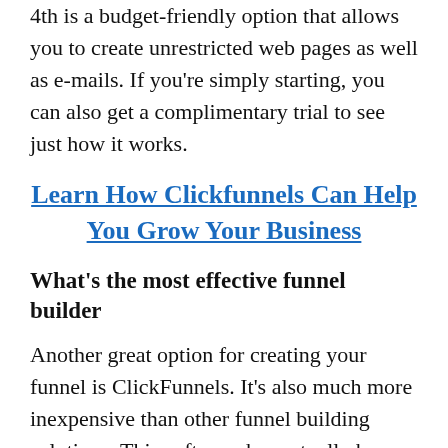4th is a budget-friendly option that allows you to create unrestricted web pages as well as e-mails. If you're simply starting, you can also get a complimentary trial to see just how it works.
Learn How Clickfunnels Can Help You Grow Your Business
What's the most effective funnel builder
Another great option for creating your funnel is ClickFunnels. It's also much more inexpensive than other funnel building solutions. This software has actually been